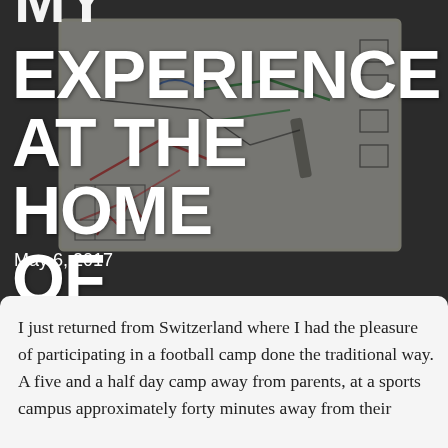[Figure (photo): Background photo of a whiteboard covered in football tactical diagrams, drawn with colored markers, in a dimly lit room]
MY EXPERIENCE AT THE HOME OF JUSTFOOTBALL ACADEMY
May 6, 2017
I just returned from Switzerland where I had the pleasure of participating in a football camp done the traditional way. A five and a half day camp away from parents, at a sports campus approximately forty minutes away from their